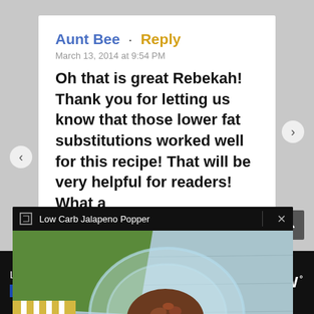Aunt Bee · Reply
March 13, 2014 at 9:54 PM
Oh that is great Rebekah! Thank you for letting us know that those lower fat substitutions worked well for this recipe! That will be very helpful for readers! What a
[Figure (screenshot): Video popup overlay showing 'Low Carb Jalapeno Popper' with a food video thumbnail (hands holding a glass bowl with chopped bacon/filling, green cloth, yellow striped background). Has a close X button and 'Skip in 5' overlay.]
y
April 4, 2014 at 9:03 PM
[Figure (screenshot): Bottom advertisement bar with 'Lose Weight For Good' text, OPEN button in blue, WW logo, and ad network icons (X and play button)]